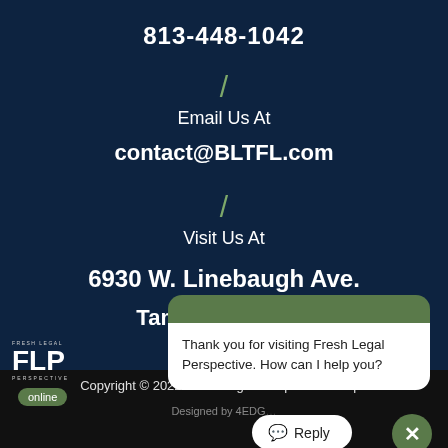813-448-1042
Email Us At
contact@BLTFL.com
Visit Us At
6930 W. Linebaugh Ave.
Tampa, FL 33625
[Figure (screenshot): Chat widget overlay showing Fresh Legal Perspective logo, online badge, and chat message: Thank you for visiting Fresh Legal Perspective. How can I help you?]
Copyright © 2022 Fresh Legal Perspective Tampa
Designed by 4EDG...